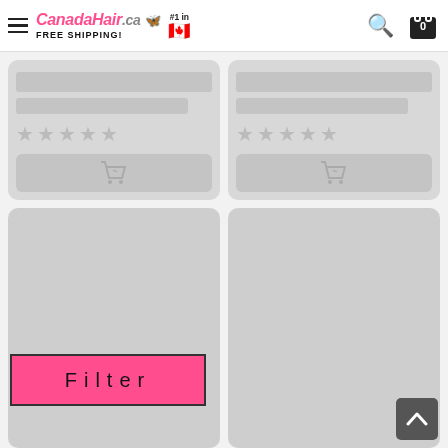CanadaHair.ca — FREE SHIPPING! #1 in Canada
[Figure (screenshot): Product listing grid with two partial product cards at top (showing text placeholders, star ratings, and add-to-cart buttons), two large product image placeholder cards below, a pink Filter button at bottom left, and a scroll-to-top button at bottom right.]